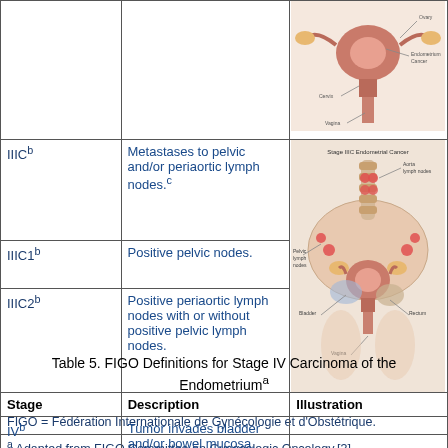| Stage | Description | Illustration |
| --- | --- | --- |
| [image row] |  | anatomical illustration |
| IIICb | Metastases to pelvic and/or periaortic lymph nodes.c | stage IIIC anatomical illustration |
| IIIC1b | Positive pelvic nodes. |  |
| IIIC2b | Positive periaortic lymph nodes with or without positive pelvic lymph nodes. |  |
| FIGO = Fédération Internationale de Gynécologie et d'Obstétrique. |  |  |
| a Adapted from FIGO Committee on Gynecologic Oncology.[3] |  |  |
| b G1, G2, or G3 (G = grade). |  |  |
| c Positive cytology has to be reported separately without changing the stage. |  |  |
Table 5. FIGO Definitions for Stage IV Carcinoma of the Endometriuma
| Stage | Description | Illustration |
| --- | --- | --- |
| IVb | Tumor invades bladder and/or bowel mucosa, and/or |  |